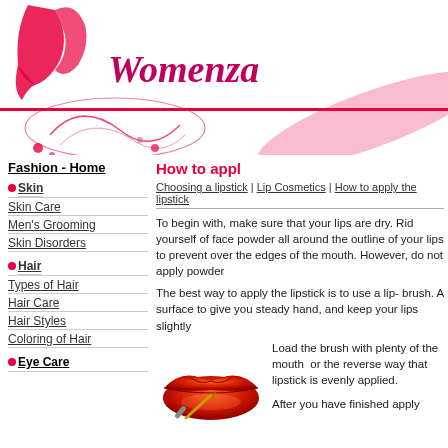[Figure (logo): Womenza website header with decorative woman silhouette, floral swirls in pink/red, and the brand name Womenza in stylized font. Includes a fashion silhouette figure on the right.]
Fashion - Home
Skin
Skin Care
Men's Grooming
Skin Disorders
Hair
Types of Hair
Hair Care
Hair Styles
Coloring of Hair
Eye Care
How to appl
Choosing a lipstick | Lip Cosmetics | How to apply the lipstick
To begin with, make sure that your lips are dry. Rid yourself of face powder all around the outline of your lips to prevent over the edges of the mouth. However, do not apply powder
The best way to apply the lipstick is to use a lip- brush. A surface to give you steady hand, and keep your lips slightly
[Figure (photo): Close-up photo of red lips with a lip brush applying lipstick]
Load the brush with plenty of the mouth or the reverse way that lipstick is evenly applied.
After you have finished apply